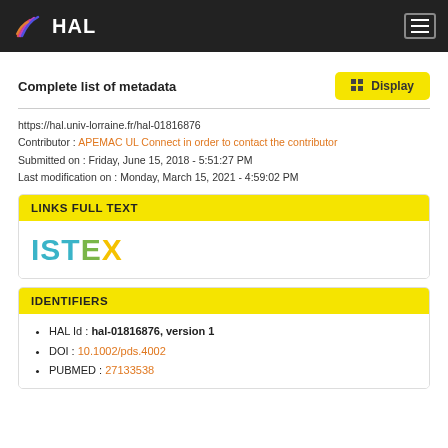HAL
Complete list of metadata
https://hal.univ-lorraine.fr/hal-01816876
Contributor : APEMAC UL Connect in order to contact the contributor
Submitted on : Friday, June 15, 2018 - 5:51:27 PM
Last modification on : Monday, March 15, 2021 - 4:59:02 PM
LINKS FULL TEXT
[Figure (logo): ISTEX logo in teal, green, and yellow letters]
IDENTIFIERS
HAL Id : hal-01816876, version 1
DOI : 10.1002/pds.4002
PUBMED : 27133538